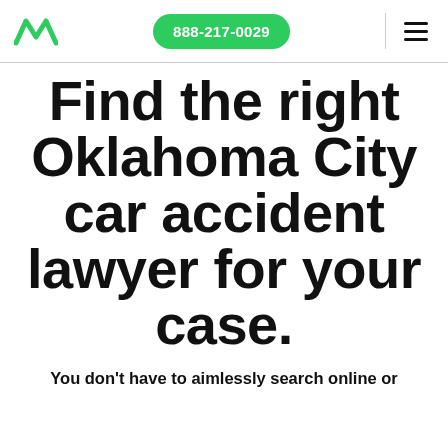888-217-0029
Find the right Oklahoma City car accident lawyer for your case.
You don't have to aimlessly search online or